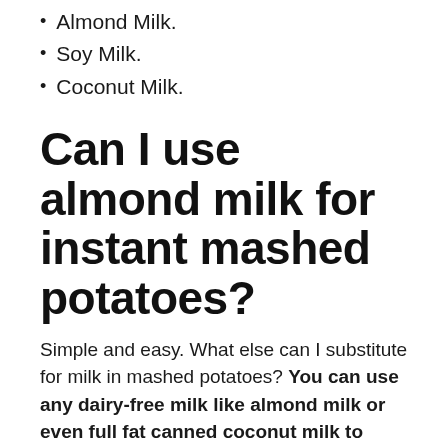Almond Milk.
Soy Milk.
Coconut Milk.
Can I use almond milk for instant mashed potatoes?
Simple and easy. What else can I substitute for milk in mashed potatoes? You can use any dairy-free milk like almond milk or even full fat canned coconut milk to make them extra creamy!
Can I use almond milk in mashed potatoes?